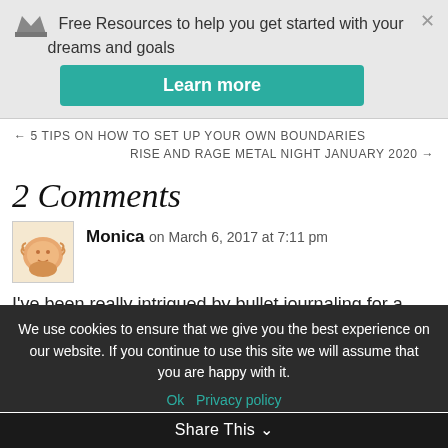[Figure (other): Promotional banner with crown icon, text 'Free Resources to help you get started with your dreams and goals', close button, and teal 'Learn more' button]
← 5 TIPS ON HOW TO SET UP YOUR OWN BOUNDARIES
RISE AND RAGE METAL NIGHT JANUARY 2020 →
2 Comments
Monica on March 6, 2017 at 7:11 pm
I've been really intrigued by bullet journaling for a while now. Thank you for sharing some more details about it!
We use cookies to ensure that we give you the best experience on our website. If you continue to use this site we will assume that you are happy with it.
Ok   Privacy policy
Share This ∨